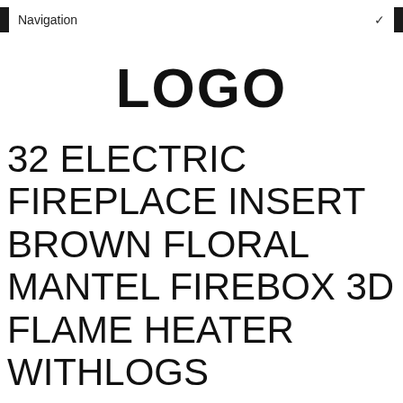Navigation
LOGO
32 ELECTRIC FIREPLACE INSERT BROWN FLORAL MANTEL FIREBOX 3D FLAME HEATER WITHLOGS
Home / electric /
32 Electric Fireplace Insert Brown Floral Mantel Firebox 3D Flame Heater withLogs